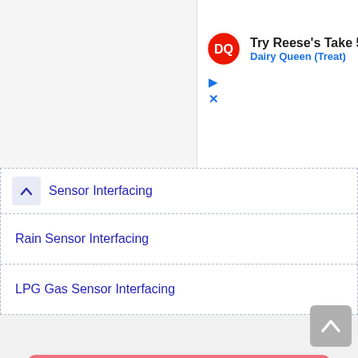[Figure (screenshot): Dairy Queen advertisement banner: DQ logo, text 'Try Reese's Take 5 B' and 'Dairy Queen (Treat)' with play and close buttons]
Sensor Interfacing
Rain Sensor Interfacing
LPG Gas Sensor Interfacing
[Figure (screenshot): AliExpress Summer Sale advertisement: 'Summer Sale AliExpress', 'Official picks', 'Shop now' button, robot vacuum cleaner product image on pink background]